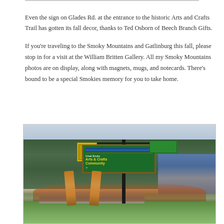Even the sign on Glades Rd. at the entrance to the historic Arts and Crafts Trail has gotten its fall decor, thanks to Ted Osborn of Beech Branch Gifts.
If you're traveling to the Smoky Mountains and Gatlinburg this fall, please stop in for a visit at the William Britten Gallery. All my Smoky Mountains photos are on display, along with magnets, mugs, and notecards. There's bound to be a special Smokies memory for you to take home.
[Figure (photo): Outdoor photo of the Great Smoky Arts & Crafts Community entrance sign on Glades Rd. The green sign with yellow text reads 'Great Smoky Arts & Crafts Community' with an arrow, decorated with orange pumpkins and corn stalk fall decorations. A stone base sits beneath the sign. Yellow and green directional banners hang from the post. Trees and hills are visible in the background, with buildings on the right side.]